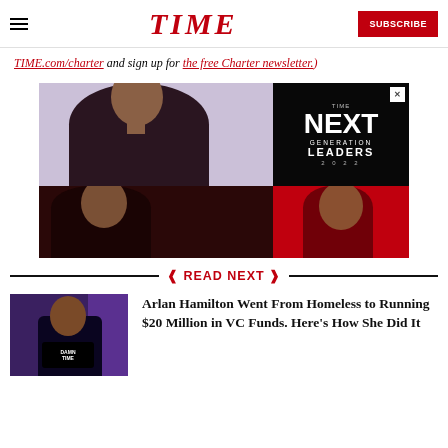TIME — SUBSCRIBE
TIME.com/charter and sign up for the free Charter newsletter.)
[Figure (photo): TIME Next Generation Leaders 2022 advertisement featuring portraits of young leaders against dark backgrounds]
READ NEXT
[Figure (photo): Thumbnail image of Arlan Hamilton seated]
Arlan Hamilton Went From Homeless to Running $20 Million in VC Funds. Here's How She Did It